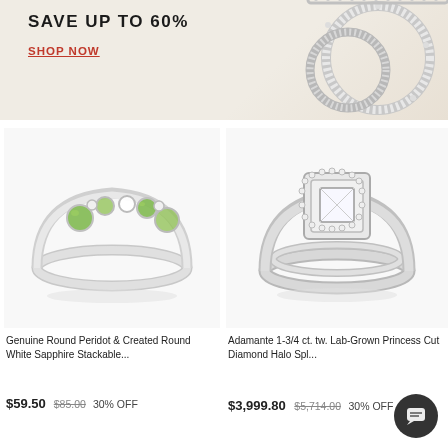[Figure (photo): Jewelry promotional banner showing diamond rings on soft fabric background with 'SAVE UP TO 60%' text and 'SHOP NOW' link in red]
[Figure (photo): Genuine Round Peridot and Created Round White Sapphire Stackable ring with green and white gemstones on white gold band]
Genuine Round Peridot & Created Round White Sapphire Stackable...
$59.50  $85.00  30% OFF
[Figure (photo): Adamante 1-3/4 ct. tw. Lab-Grown Princess Cut Diamond Halo Split wedding ring set with halo setting and diamond band]
Adamante 1-3/4 ct. tw. Lab-Grown Princess Cut Diamond Halo Spl...
$3,999.80  $5,714.00  30% OFF